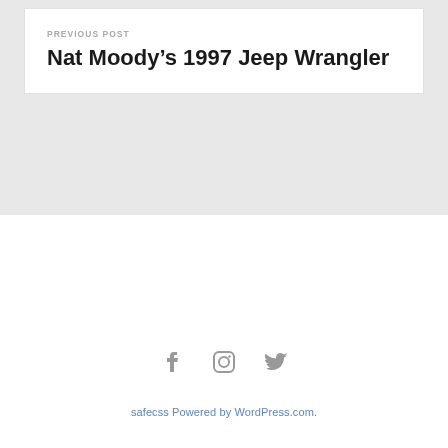PREVIOUS POST
Nat Moody’s 1997 Jeep Wrangler
[Figure (other): Social media icons: Facebook, Instagram, Twitter]
safecss Powered by WordPress.com.